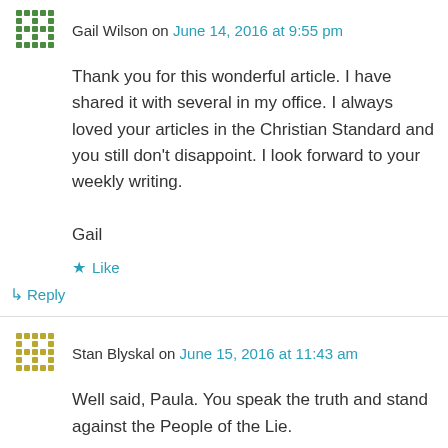Gail Wilson on June 14, 2016 at 9:55 pm
Thank you for this wonderful article. I have shared it with several in my office. I always loved your articles in the Christian Standard and you still don't disappoint. I look forward to your weekly writing.

Gail
★ Like
↳ Reply
Stan Blyskal on June 15, 2016 at 11:43 am
Well said, Paula. You speak the truth and stand against the People of the Lie.
★ Like